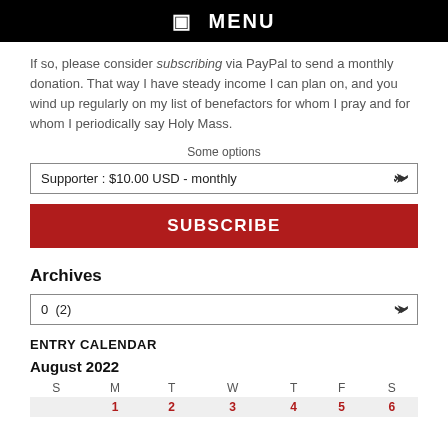☰  MENU
If so, please consider subscribing via PayPal to send a monthly donation. That way I have steady income I can plan on, and you wind up regularly on my list of benefactors for whom I pray and for whom I periodically say Holy Mass.
Some options
Supporter : $10.00 USD - monthly
SUBSCRIBE
Archives
0  (2)
ENTRY CALENDAR
August 2022
| S | M | T | W | T | F | S |
| --- | --- | --- | --- | --- | --- | --- |
|  | 1 | 2 | 3 | 4 | 5 | 6 |